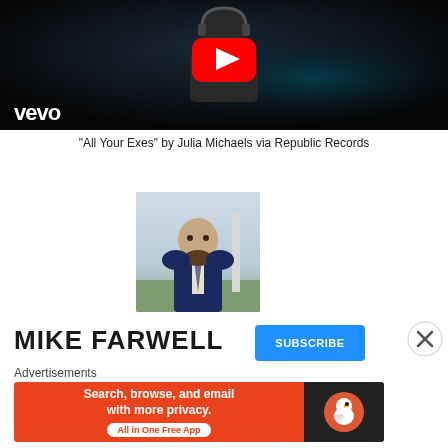[Figure (screenshot): YouTube/Vevo video thumbnail showing a person wearing headphones in dim lighting, with a YouTube play button icon and Vevo logo overlay]
“All Your Exes” by Julia Michaels via Republic Records
[Figure (photo): Profile photo of a bald man with a beard wearing a navy suit and tie, standing outdoors near a fence]
MIKE FARWELL
SUBSCRIBE
Advertisements
[Figure (screenshot): DuckDuckGo advertisement banner: orange background with text 'Search, browse, and email with more privacy. All in One Free App' and DuckDuckGo logo on dark background]